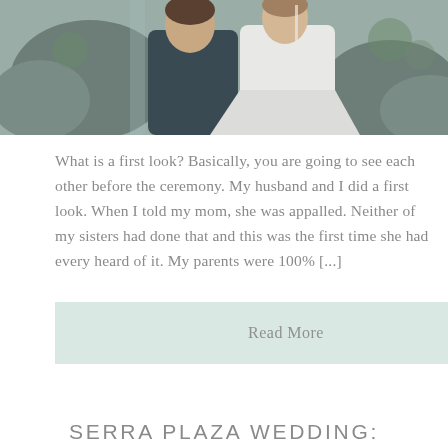[Figure (photo): Wedding photo showing a couple, groom in dark suit and bride in white dress, standing together outdoors with rocky/nature background]
What is a first look?  Basically, you are going to see each other before the ceremony.  My husband and I did a first look.  When I told my mom, she was appalled.  Neither of my sisters had done that and this was the first time she had every heard of it.  My parents were 100% [...]
Read More
SERRA PLAZA WEDDING: